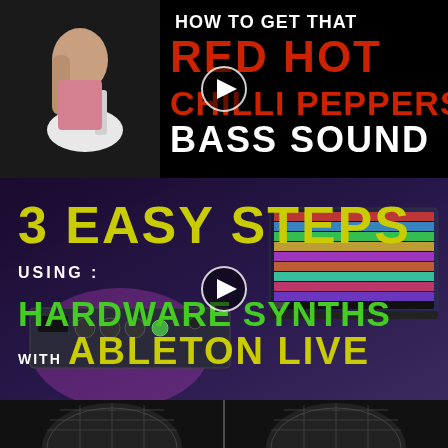[Figure (screenshot): Video thumbnail: musician playing bass guitar on left, black background on right with text 'HOW TO GET THAT RED HOT CHILLI PEPPERS BASS SOUND' and a play button in center]
[Figure (screenshot): Video thumbnail: person using hardware synths with laptop running Ableton Live, text '3 EASY STEPS USING HARDWARE SYNTHS WITH ABLETON LIVE' and a play button in center]
[Figure (screenshot): Video thumbnail: two microphones side by side on dark background, partially visible]